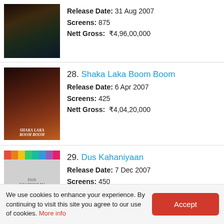Release Date: 31 Aug 2007 | Screens: 875 | Nett Gross: ₹4,96,00,000
28. Shaka Laka Boom Boom | Release Date: 6 Apr 2007 | Screens: 425 | Nett Gross: ₹4,04,20,000
29. Dus Kahaniyaan | Release Date: 7 Dec 2007 | Screens: 450 | Nett Gross: ₹4,02,00,000
30. Cheeni Kum | Release Date: 25 May 2007 | Screens: 250 | Nett Gross: ₹3,07,00,000
We use cookies to enhance your experience. By continuing to visit this site you agree to our use of cookies. More info